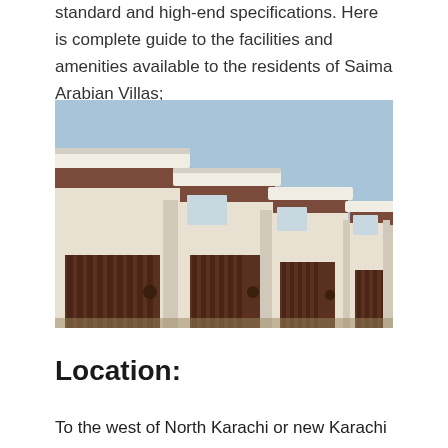standard and high-end specifications. Here is complete guide to the facilities and amenities available to the residents of Saima Arabian Villas;
[Figure (photo): Row of Saima Arabian Villas houses showing cream-colored facades with dark brown wooden gate panels, ornate white cornices, and a clear blue sky in the background.]
Location:
To the west of North Karachi or new Karachi